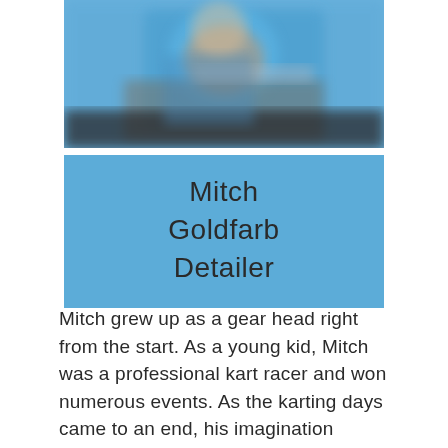[Figure (photo): Blurred photo of a person wearing a blue shirt, working with mechanical equipment. The image is cropped to show the upper body area.]
Mitch Goldfarb
Detailer
Mitch grew up as a gear head right from the start. As a young kid, Mitch was a professional kart racer and won numerous events. As the karting days came to an end, his imagination began to take over. Anything mechanical that came